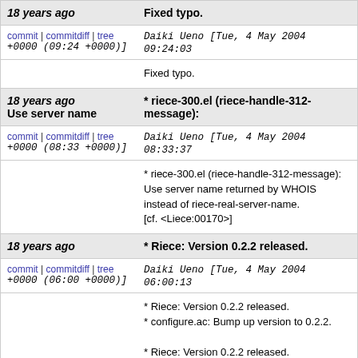| 18 years ago | Fixed typo. |
| --- | --- |
| commit | commitdiff | tree
Daiki Ueno [Tue, 4 May 2004 09:24:03 +0000 (09:24 +0000)] |  |
|  | Fixed typo. |
| 18 years ago
Use server name | * riece-300.el (riece-handle-312-message): |
| commit | commitdiff | tree
Daiki Ueno [Tue, 4 May 2004 08:33:37 +0000 (08:33 +0000)] |  |
|  | * riece-300.el (riece-handle-312-message): Use server name returned by WHOIS instead of riece-real-server-name.
[cf. <Liece:00170>] |
| 18 years ago | * Riece: Version 0.2.2 released. |
| commit | commitdiff | tree
Daiki Ueno [Tue, 4 May 2004 06:00:13 +0000 (06:00 +0000)] |  |
|  | * Riece: Version 0.2.2 released.
* configure.ac: Bump up version to 0.2.2.

* Riece: Version 0.2.2 released. |